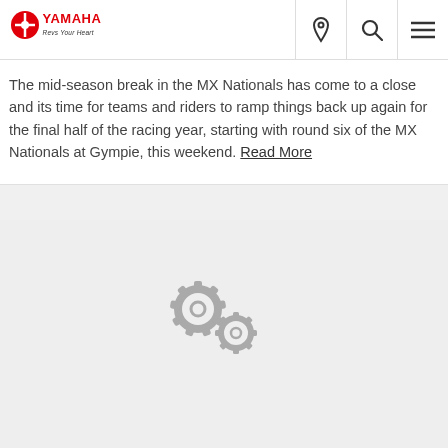YAMAHA - Revs Your Heart
The mid-season break in the MX Nationals has come to a close and its time for teams and riders to ramp things back up again for the final half of the racing year, starting with round six of the MX Nationals at Gympie, this weekend. Read More
[Figure (illustration): Loading spinner with two interlocking grey gear icons on a light grey background]